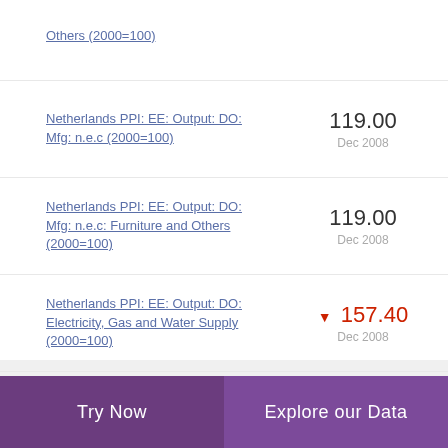Others (2000=100)
Netherlands PPI: EE: Output: DO: Mfg: n.e.c (2000=100)
119.00
Dec 2008
Netherlands PPI: EE: Output: DO: Mfg: n.e.c: Furniture and Others (2000=100)
119.00
Dec 2008
Netherlands PPI: EE: Output: DO: Electricity, Gas and Water Supply (2000=100)
▼ 157.40
Dec 2008
Try Now | Explore our Data